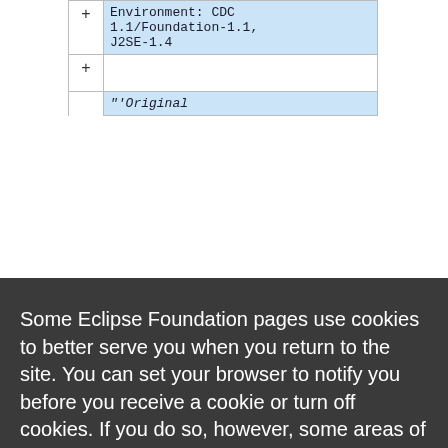| + | Environment: CDC 1.1/Foundation-1.1, J2SE-1.4 |
| + |  |
| + | '''Original |
Some Eclipse Foundation pages use cookies to better serve you when you return to the site. You can set your browser to notify you before you receive a cookie or turn off cookies. If you do so, however, some areas of some sites may not function properly. To read Eclipse Foundation Privacy Policy click here.